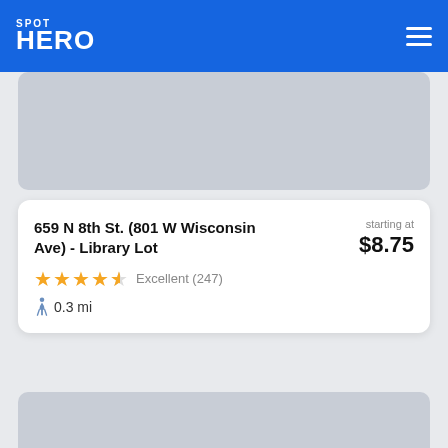SPOT HERO
[Figure (photo): Gray map/image placeholder at top of listing]
659 N 8th St. (801 W Wisconsin Ave) - Library Lot
starting at $8.75
★★★★½ Excellent (247)
🚶 0.3 mi
[Figure (photo): Gray map/image placeholder at bottom of page (partially visible)]